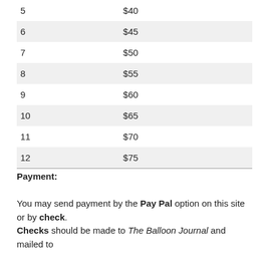| 5 | $40 |
| 6 | $45 |
| 7 | $50 |
| 8 | $55 |
| 9 | $60 |
| 10 | $65 |
| 11 | $70 |
| 12 | $75 |
Payment:
You may send payment by the Pay Pal option on this site or by check.
Checks should be made to The Balloon Journal and mailed to